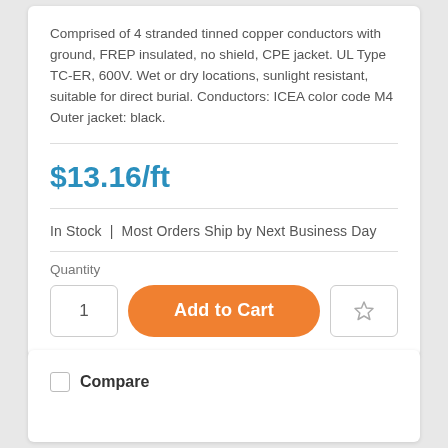Comprised of 4 stranded tinned copper conductors with ground, FREP insulated, no shield, CPE jacket. UL Type TC-ER, 600V. Wet or dry locations, sunlight resistant, suitable for direct burial. Conductors: ICEA color code M4 Outer jacket: black.
$13.16/ft
In Stock | Most Orders Ship by Next Business Day
Quantity
1
Add to Cart
Compare